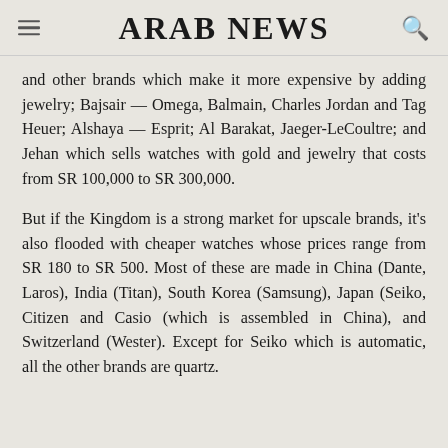ARAB NEWS
and other brands which make it more expensive by adding jewelry; Bajsair — Omega, Balmain, Charles Jordan and Tag Heuer; Alshaya — Esprit; Al Barakat, Jaeger-LeCoultre; and Jehan which sells watches with gold and jewelry that costs from SR 100,000 to SR 300,000.
But if the Kingdom is a strong market for upscale brands, it's also flooded with cheaper watches whose prices range from SR 180 to SR 500. Most of these are made in China (Dante, Laros), India (Titan), South Korea (Samsung), Japan (Seiko, Citizen and Casio (which is assembled in China), and Switzerland (Wester). Except for Seiko which is automatic, all the other brands are quartz.